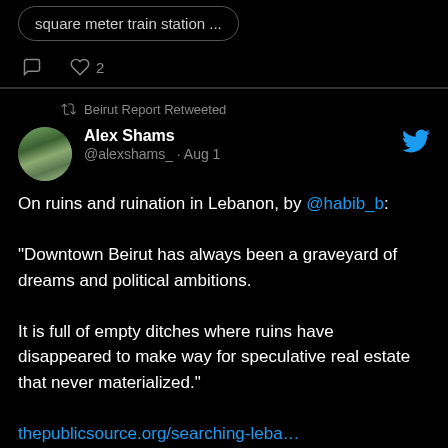square meter train station ...
♡ 2
Beirut Report Retweeted
Alex Shams @alexshams_ · Aug 1
On ruins and ruination in Lebanon, by @habib_b:

"Downtown Beirut has always been a graveyard of dreams and political ambitions.

It is full of empty ditches where ruins have disappeared to make way for speculative real estate that never materialized."
thepublicsource.org/searching-leba...